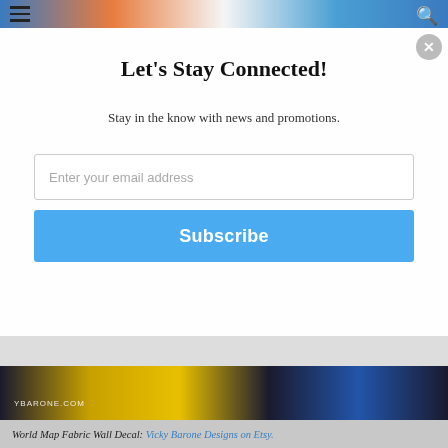[Figure (screenshot): Website screenshot showing a newsletter subscription modal popup over a page with a colorful world map fabric wall decal image. Top has hamburger menu and search icon. Modal has title, subtitle, email input, and subscribe button.]
Let's Stay Connected!
Stay in the know with news and promotions.
World Map Fabric Wall Decal: Vicky Barone Designs on Etsy.